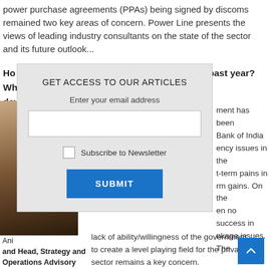power purchase agreements (PPAs) being signed by discoms remained two key areas of concern. Power Line presents the views of leading industry consultants on the state of the sector and its future outlook...
[Figure (screenshot): Modal dialog overlay with title 'GET ACCESS TO OUR ARTICLES', email input field, Subscribe to Newsletter checkbox, and SUBMIT button]
Ho... past year? Wh... developments?
[Figure (photo): Partial photo of a person, cropped, showing face and upper body]
ment has been Bank of India ency issues in the t-term pains in rm gains. On the en no success in nkage issues. The lack of ability/willingness of the government to create a level playing field for the private sector remains a key concern.
Ani and Head, Strategy and Operations Advisory (Infrastructure), KPMG